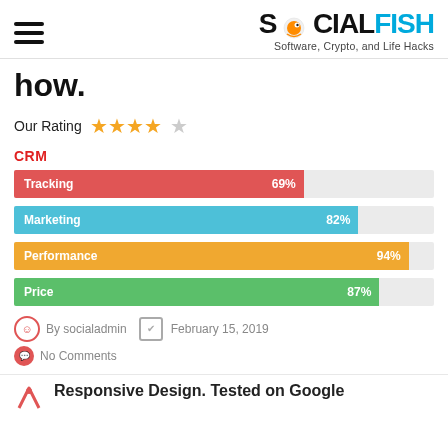SOCIALFISH — Software, Crypto, and Life Hacks
how.
Our Rating ★★★★☆
CRM
[Figure (bar-chart): CRM]
By socialadmin   February 15, 2019
No Comments
Responsive Design. Tested on Google